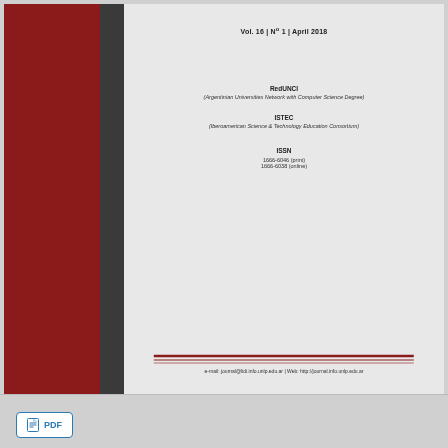Vol. 16 | Nº 1 | April 2018
RedUNCI
(Argentinian Universities Network with Computer Science Degree)
ISTEC
(Iberoamerican Science & Technology Education Consortium)
ISSN
1666-6046 (print)
1666-6038 (online)
e-mail: journal@lidi.info.unlp.edu.ar | Web: http://journal.info.unlp.edu.ar